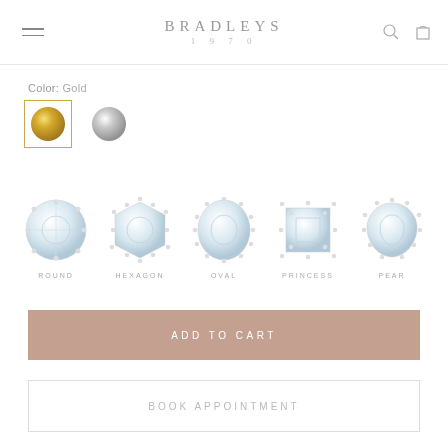BRADLEYS 1970
Color: Gold
[Figure (illustration): Two color swatches: a gold circle in a selected square border and a silver/platinum circle without border]
[Figure (illustration): Five diamond earring shape options shown as jewelry photographs with labels: ROUND, HEXAGON, OVAL, PRINCESS, PEAR]
ADD TO CART
BOOK APPOINTMENT